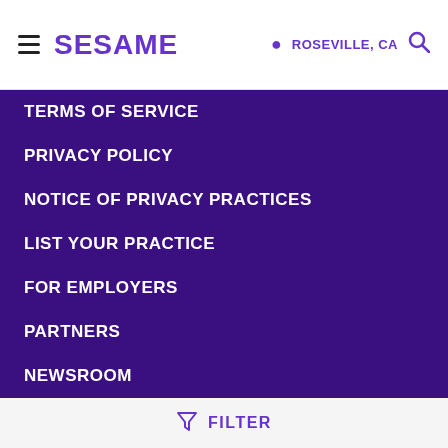SESAME | ROSEVILLE, CA
TERMS OF SERVICE
PRIVACY POLICY
NOTICE OF PRIVACY PRACTICES
LIST YOUR PRACTICE
FOR EMPLOYERS
PARTNERS
NEWSROOM
HELP
[Figure (logo): LegiScript SESAMECARE.COM 06/09/22 Certified badge]
FILTER